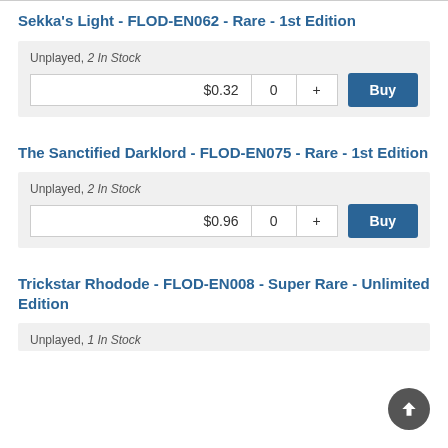Sekka's Light - FLOD-EN062 - Rare - 1st Edition
Unplayed, 2 In Stock
$0.32  0  +  Buy
The Sanctified Darklord - FLOD-EN075 - Rare - 1st Edition
Unplayed, 2 In Stock
$0.96  0  +  Buy
Trickstar Rhodode - FLOD-EN008 - Super Rare - Unlimited Edition
Unplayed, 1 In Stock